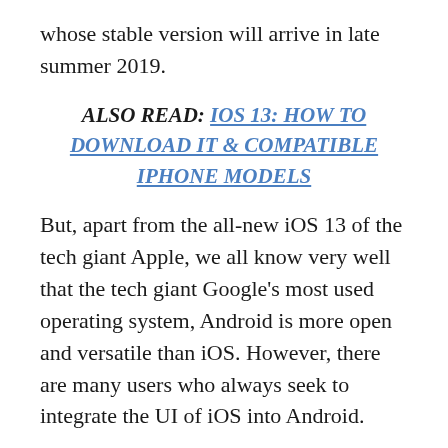whose stable version will arrive in late summer 2019.
ALSO READ: IOS 13: HOW TO DOWNLOAD IT & COMPATIBLE IPHONE MODELS
But, apart from the all-new iOS 13 of the tech giant Apple, we all know very well that the tech giant Google's most used operating system, Android is more open and versatile than iOS. However, there are many users who always seek to integrate the UI of iOS into Android.
Now, we are going to talk about an overview of the